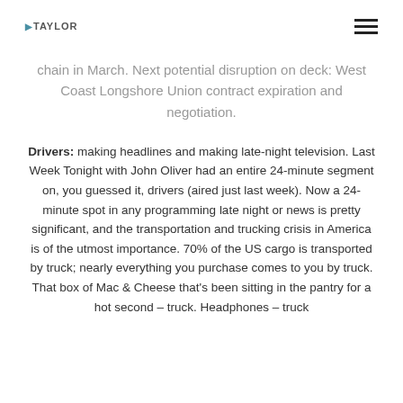GTAYLOR [hamburger menu]
chain in March. Next potential disruption on deck: West Coast Longshore Union contract expiration and negotiation.
Drivers: making headlines and making late-night television. Last Week Tonight with John Oliver had an entire 24-minute segment on, you guessed it, drivers (aired just last week). Now a 24-minute spot in any programming late night or news is pretty significant, and the transportation and trucking crisis in America is of the utmost importance. 70% of the US cargo is transported by truck; nearly everything you purchase comes to you by truck. That box of Mac & Cheese that’s been sitting in the pantry for a hot second – truck. Headphones – truck